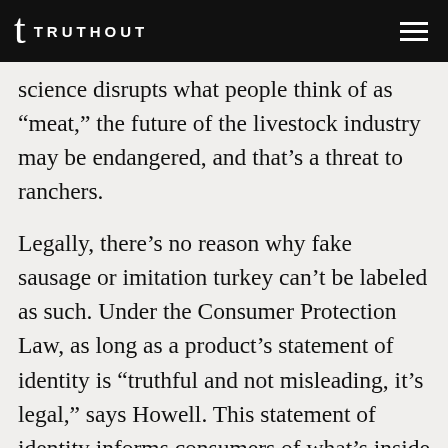TRUTHOUT
science disrupts what people think of as “meat,” the future of the livestock industry may be endangered, and that’s a threat to ranchers.
Legally, there’s no reason why fake sausage or imitation turkey can’t be labeled as such. Under the Consumer Protection Law, as long as a product’s statement of identity is “truthful and not misleading, it’s legal,” says Howell. This statement of identity informs consumers of what’s inside a package and can help inform them of how to use and eat a product.